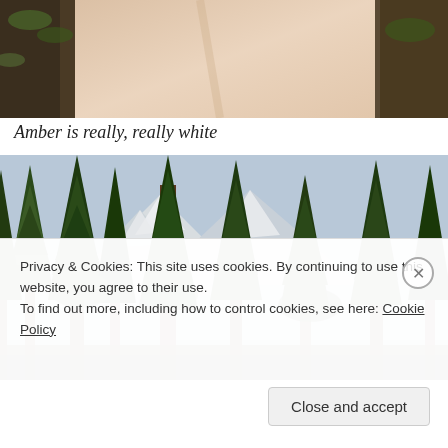[Figure (photo): Close-up photo of pale legs/skin with dark mulch/ground visible in background, partially cropped at top of page]
Amber is really, really white
[Figure (photo): Forest of tall evergreen trees (fir/pine) with snow-capped mountains visible in background through the trees, scenic outdoor nature photo]
Privacy & Cookies: This site uses cookies. By continuing to use this website, you agree to their use.
To find out more, including how to control cookies, see here: Cookie Policy
Close and accept